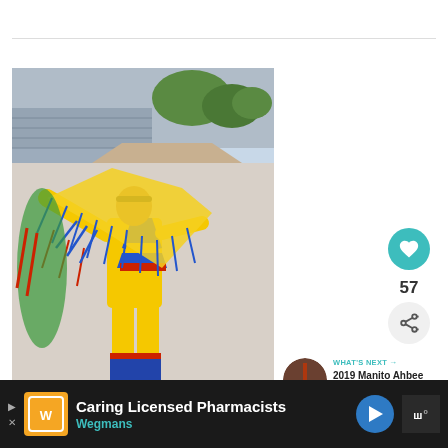[Figure (photo): A young Native American child dancing in colorful traditional powwow regalia — yellow outfit with blue and red fringe, holding a yellow shawl — at an outdoor event with bleachers and tents in the background. Watermark: 'lainesgoyette photography.com']
[Figure (illustration): Teal/turquoise heart icon inside a circular button (like button showing 57 likes)]
57
[Figure (illustration): Share icon inside a light gray circular button]
WHAT'S NEXT → 2019 Manito Ahbee Pow...
Caring Licensed Pharmacists Wegmans